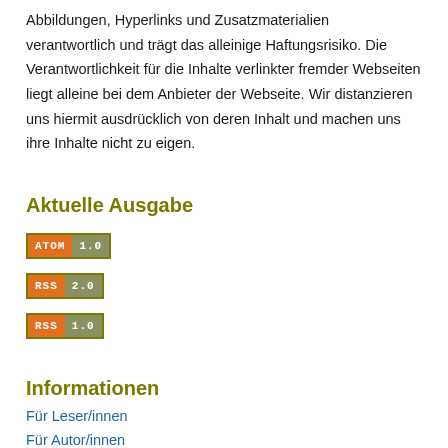Abbildungen, Hyperlinks und Zusatzmaterialien verantwortlich und trägt das alleinige Haftungsrisiko. Die Verantwortlichkeit für die Inhalte verlinkter fremder Webseiten liegt alleine bei dem Anbieter der Webseite. Wir distanzieren uns hiermit ausdrücklich von deren Inhalt und machen uns ihre Inhalte nicht zu eigen.
Aktuelle Ausgabe
[Figure (other): ATOM 1.0 feed badge - orange left panel with ATOM text, grey-green right panel with 1.0]
[Figure (other): RSS 2.0 feed badge - orange left panel with RSS text, grey-green right panel with 2.0]
[Figure (other): RSS 1.0 feed badge - orange left panel with RSS text, grey-green right panel with 1.0]
Informationen
Für Leser/innen
Für Autor/innen